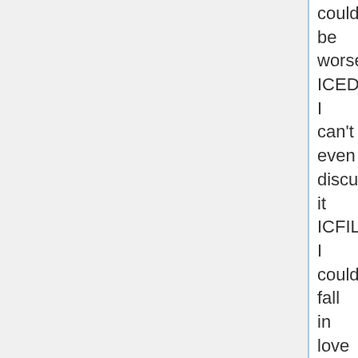could be worse ICEDI I can't even discuss it ICFILWU I could fall in love with you ICYMI In case you missed it (Twitter slang) IDBI I don't believe it IDC I don't care IDGAF I don't give a *freak* IDK I don't know IDTS I don't think so IDUNNO I don't know IFYP I feel your pain IG2R I got to run IGHT I got high tonight IGN I (I've) got nothing IGP I got to (go) pee IHNI I have no idea IIRC If I remember correctly IIIO Intel inside, idiot outside IK I know IKR I know, right? ILBL8 I'll be late ILU I love you ILUM I love you man ILY I love you IM Instant message IMAO In my arrogant opinion IMHO In my humble opinion ImL (in Arial font) Means I love you (a way of using the American sign language in text) IMNSHO In my not so humble opinion IMO In my opinion IMS I am sorry IMSB I